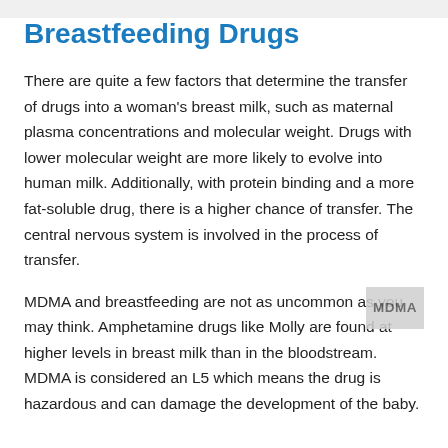Breastfeeding Drugs
There are quite a few factors that determine the transfer of drugs into a woman's breast milk, such as maternal plasma concentrations and molecular weight. Drugs with lower molecular weight are more likely to evolve into human milk. Additionally, with protein binding and a more fat-soluble drug, there is a higher chance of transfer. The central nervous system is involved in the process of transfer.
MDMA and breastfeeding are not as uncommon as you may think. Amphetamine drugs like Molly are found at higher levels in breast milk than in the bloodstream. MDMA is considered an L5 which means the drug is hazardous and can damage the development of the baby.